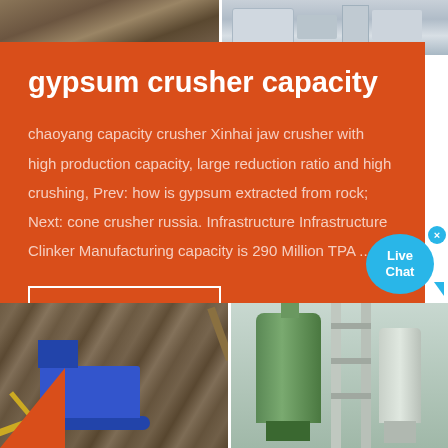[Figure (photo): Top banner with two photos: left shows gravel/crushed stone, right shows industrial machinery]
gypsum crusher capacity
chaoyang capacity crusher Xinhai jaw crusher with high production capacity, large reduction ratio and high crushing, Prev: how is gypsum extracted from rock; Next: cone crusher russia. Infrastructure Infrastructure Clinker Manufacturing capacity is 290 Million TPA ...
Read More
[Figure (photo): Bottom section with two photos: left shows mobile crusher machine on rocky ground, right shows green industrial mill/separator equipment]